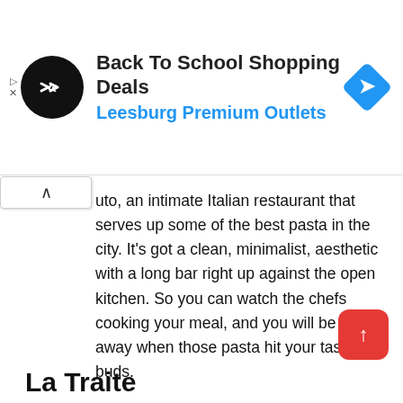[Figure (screenshot): Ad banner for Back To School Shopping Deals at Leesburg Premium Outlets, with a black circular logo showing a double-arrow icon on the left, ad title and blue subtitle in the center, and a blue diamond arrow icon on the right. Small play and X icons on the far left edge.]
uto, an intimate Italian restaurant that serves up some of the best pasta in the city. It's got a clean, minimalist, aesthetic with a long bar right up against the open kitchen. So you can watch the chefs cooking your meal, and you will be blown away when those pasta hit your taste buds.
If you're planning on visiting Battuto, do know that there aren't a lot of tables, and it's booked weeks in advance. So one of the first things you do, after you get those plane tickets, is making a reservation.
La Traite